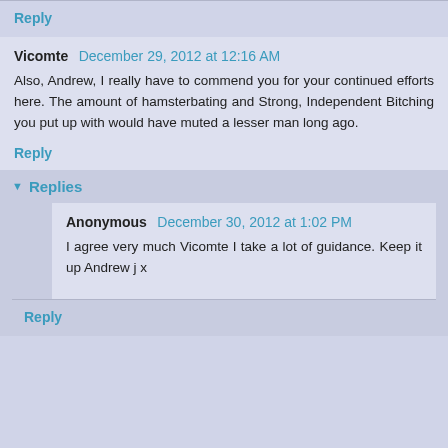Reply
Vicomte  December 29, 2012 at 12:16 AM
Also, Andrew, I really have to commend you for your continued efforts here. The amount of hamsterbating and Strong, Independent Bitching you put up with would have muted a lesser man long ago.
Reply
Replies
Anonymous  December 30, 2012 at 1:02 PM
I agree very much Vicomte I take a lot of guidance. Keep it up Andrew j x
Reply